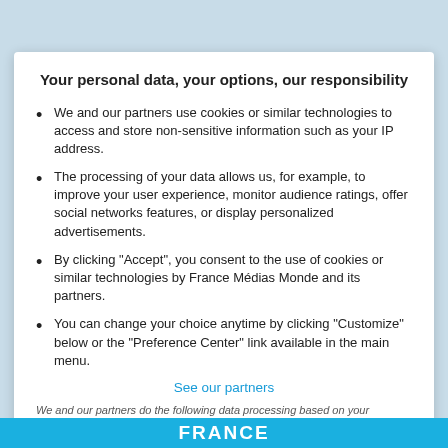Your personal data, your options, our responsibility
We and our partners use cookies or similar technologies to access and store non-sensitive information such as your IP address.
The processing of your data allows us, for example, to improve your user experience, monitor audience ratings, offer social networks features, or display personalized advertisements.
By clicking "Accept", you consent to the use of cookies or similar technologies by France Médias Monde and its partners.
You can change your choice anytime by clicking "Customize" below or the "Preference Center" link available in the main menu.
See our partners
We and our partners do the following data processing based on your consent:  store and/or access information on a device, personalised ads and content, ad and content measurement, audience insights and product development
◄  Deny   Customize   Accept  ►